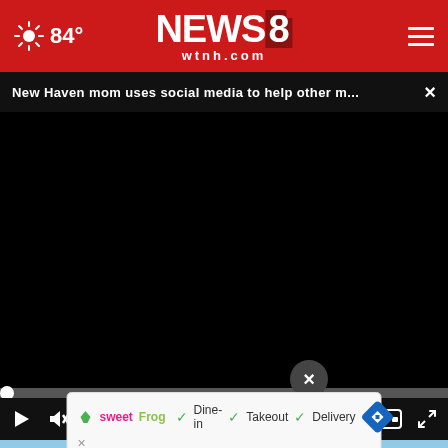84° NEWS8 wtnh.com
New Haven mom uses social media to help other m...
[Figure (screenshot): Video player with black screen, progress bar at start (00:00), playback controls including play button, mute button, timestamp 00:00, captions button, and fullscreen button]
[Figure (screenshot): Advertisement banner showing SweetFrog logo with text: Dine-in, Takeout, Delivery with checkmarks, and a directions icon. Below is a blue/light image area with a white circular element and a close (X) circle button.]